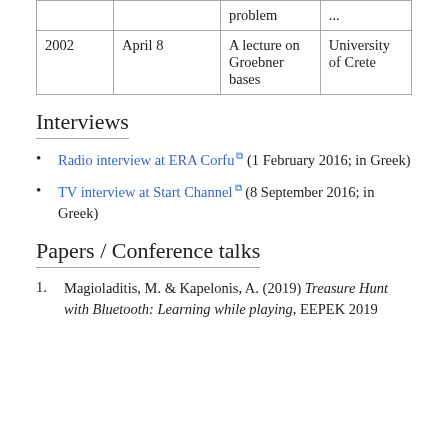|  |  |  |  |
| --- | --- | --- | --- |
|  |  | problem | ... |
| 2002 | April 8 | A lecture on Groebner bases | University of Crete |
Interviews
Radio interview at ERA Corfu (1 February 2016; in Greek)
TV interview at Start Channel (8 September 2016; in Greek)
Papers / Conference talks
Magioladitis, M. & Kapelonis, A. (2019) Treasure Hunt with Bluetooth: Learning while playing, EEPEK 2019